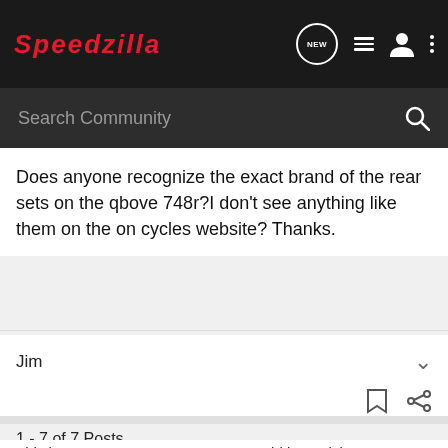Speedzilla
Does anyone recognize the exact brand of the rear sets on the qbove 748r?I don't see anything like them on the on cycles website? Thanks.
Jim
1 - 7 of 7 Posts
This is an ... could be reviving a...